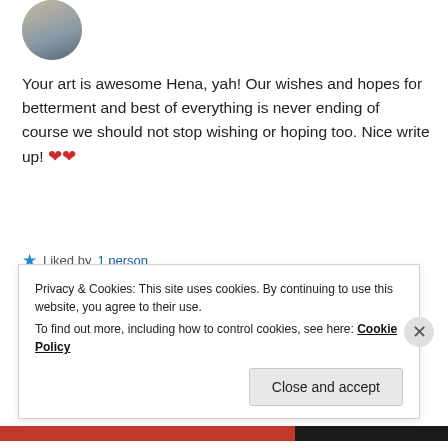[Figure (photo): Circular avatar photo of a person with dark hair]
Your art is awesome Hena, yah! Our wishes and hopes for betterment and best of everything is never ending of course we should not stop wishing or hoping too. Nice write up! ❤❤
★ Liked by 1 person
REPLY
Privacy & Cookies: This site uses cookies. By continuing to use this website, you agree to their use.
To find out more, including how to control cookies, see here: Cookie Policy
Close and accept